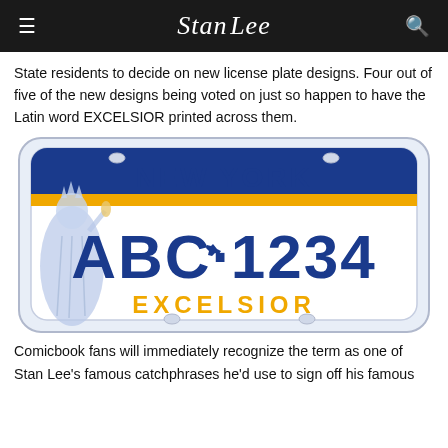Stan Lee logo header with hamburger menu and search icon
State residents to decide on new license plate designs. Four out of five of the new designs being voted on just so happen to have the Latin word EXCELSIOR printed across them.
[Figure (illustration): New York state license plate design showing 'NEW YORK' in blue text at top with gold stripe, 'ABC 1234' as the plate number in dark navy, a small New York state shape icon between letter and number groups, Statue of Liberty on left side in light blue, and 'EXCELSIOR' in gold text at the bottom. White plate with rounded rectangle border.]
Comicbook fans will immediately recognize the term as one of Stan Lee's famous catchphrases he'd use to sign off his famous